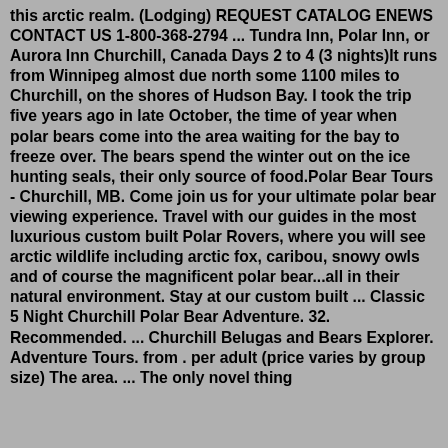this arctic realm. (Lodging) REQUEST CATALOG ENEWS CONTACT US 1-800-368-2794 ... Tundra Inn, Polar Inn, or Aurora Inn Churchill, Canada Days 2 to 4 (3 nights)It runs from Winnipeg almost due north some 1100 miles to Churchill, on the shores of Hudson Bay. I took the trip five years ago in late October, the time of year when polar bears come into the area waiting for the bay to freeze over. The bears spend the winter out on the ice hunting seals, their only source of food.Polar Bear Tours - Churchill, MB. Come join us for your ultimate polar bear viewing experience. Travel with our guides in the most luxurious custom built Polar Rovers, where you will see arctic wildlife including arctic fox, caribou, snowy owls and of course the magnificent polar bear...all in their natural environment. Stay at our custom built ... Classic 5 Night Churchill Polar Bear Adventure. 32. Recommended. ... Churchill Belugas and Bears Explorer. Adventure Tours. from . per adult (price varies by group size) The area. ... The only novel thing